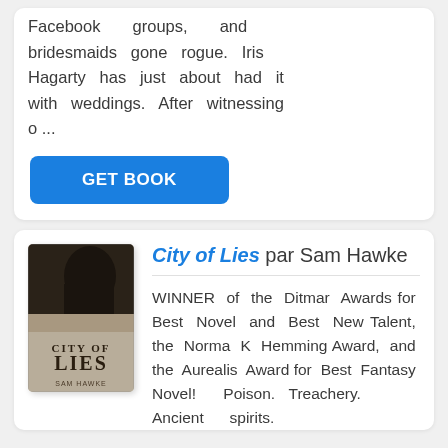Facebook groups, and bridesmaids gone rogue. Iris Hagarty has just about had it with weddings. After witnessing o ...
[Figure (other): GET BOOK blue button]
[Figure (illustration): Book cover for City of Lies by Sam Hawke]
City of Lies par Sam Hawke
WINNER of the Ditmar Awards for Best Novel and Best New Talent, the Norma K Hemming Award, and the Aurealis Award for Best Fantasy Novel! Poison. Treachery. Ancient spirits. Siege. The Poison Wars begin ...